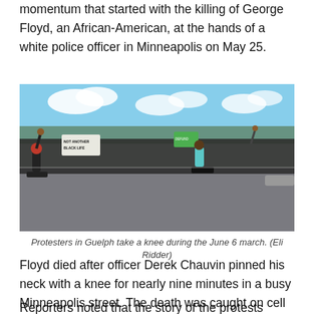momentum that started with the killing of George Floyd, an African-American, at the hands of a white police officer in Minneapolis on May 25.
[Figure (photo): Protesters in Guelph taking a knee during the June 6 march. A large crowd is kneeling on a street, some raising fists, holding signs including one reading 'NOT ANOTHER BLACK LIFE'. Two individuals are prominently kneeling in the foreground.]
Protesters in Guelph take a knee during the June 6 march. (Eli Ridder)
Floyd died after officer Derek Chauvin pinned his neck with a knee for nearly nine minutes in a busy Minneapolis street. The death was caught on cell phone video and shared worldwide.
Reporters noted that the story of the protests Guelph had